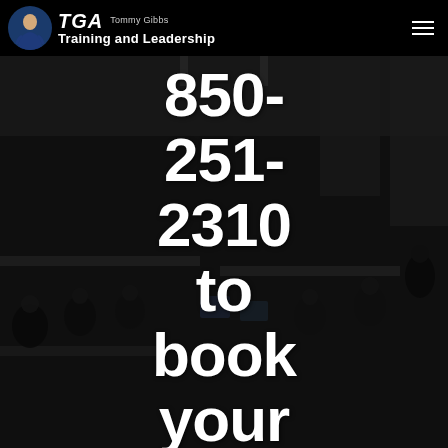Tommy Gibbs TGA Training and Leadership
850-251-2310 to book your Workshop today!
Tommy@TommyGibbsTraining.com